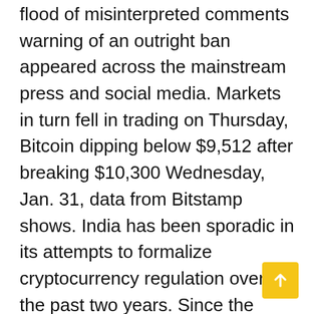flood of misinterpreted comments warning of an outright ban appeared across the mainstream press and social media. Markets in turn fell in trading on Thursday, Bitcoin dipping below $9,512 after breaking $10,300 Wednesday, Jan. 31, data from Bitstamp shows. India has been sporadic in its attempts to formalize cryptocurrency regulation over the past two years. Since the country's currency reforms, interest in Bitcoin especially has skyrocketed, with local exchanges reporting huge growth. This week's slump brought the total market value of cryptocurrencies down to around $400 billion, half the high it reached in January, according to industry tracker Coinmarketcap.com. The market value of cryptocurrencies is calculated by multiplying the number of digital coins in existence by their price, although many question whether that is the right way to